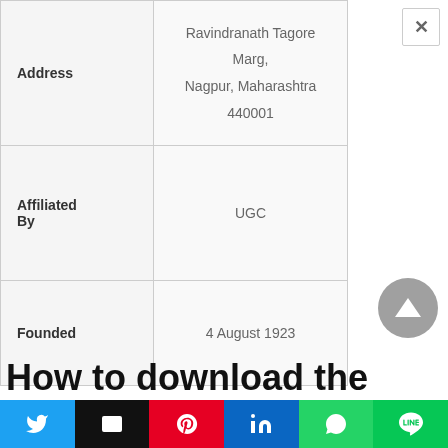| Field | Value |
| --- | --- |
| Address | Ravindranath Tagore Marg, Nagpur, Maharashtra 440001 |
| Affiliated By | UGC |
| Founded | 4 August 1923 |
How to download the